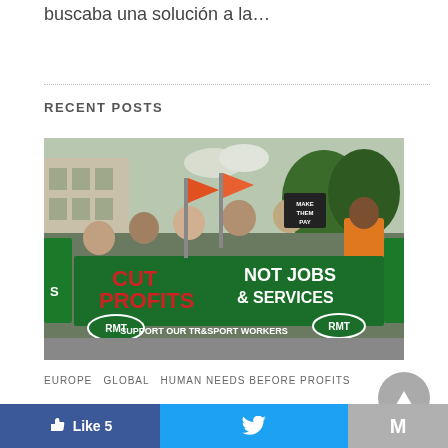buscaba una solución a la…
RECENT POSTS
[Figure (photo): Protest march with RMT union banners reading 'CUT PROFITS NOT JOBS & SERVICES' and 'SUPPORT OUR TRANSPORT WORKERS'. Protesters carrying flags and signs including 'MAKE THEM PAY'.]
EUROPE  GLOBAL  HUMAN NEEDS BEFORE PROFITS  WORKERS UNITE!
Like 5  [Twitter share]  [Gmail]